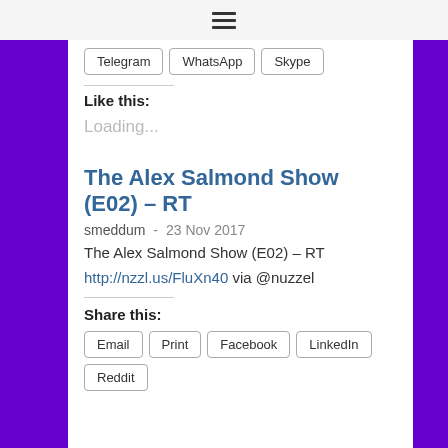☰ (hamburger menu icon)
Telegram  WhatsApp  Skype
Like this:
Loading...
The Alex Salmond Show (E02) – RT
smeddum  -  23 Nov 2017
The Alex Salmond Show (E02) – RT
http://nzzl.us/FluXn40 via @nuzzel
Share this:
Email  Print  Facebook  LinkedIn  Reddit